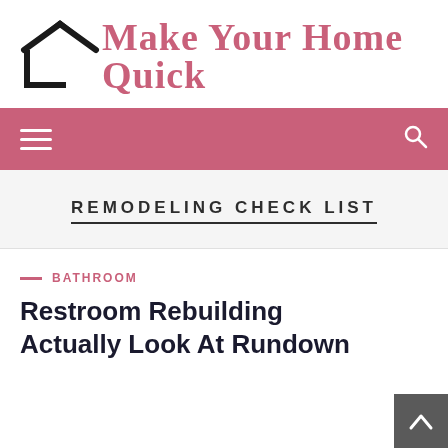Make Your Home Quick
[Figure (logo): House/roof icon with 'Make Your Home Quick' text logo]
REMODELING CHECK LIST
BATHROOM
Restroom Rebuilding Actually Look At Rundown